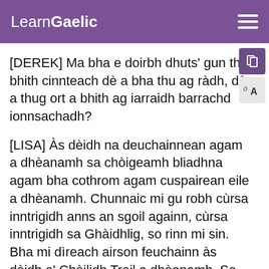LearnGaelic
[DEREK] Ma bha e doirbh dhuts' gun thu bhith cinnteach dè a bha thu ag ràdh, dè a thug ort a bhith ag iarraidh barrachd ionnsachadh?
[LISA] Às dèidh na deuchainnean agam a dhèanamh sa chòigeamh bliadhna agam bha cothrom agam cuspairean eile a dhèanamh. Chunnaic mi gu robh cùrsa inntrigidh anns an sgoil againn, cùrsa inntrigidh sa Ghàidhlig, so rinn mi sin. Bha mi dìreach airson feuchainn às dèidh a' Chèilidh Trail a dhèanamh. So, rinn mi sin, 's bha e math. Chòrd e rium gu mòr. Cha robh e cho doirbh às dèidh sin.
[DEREK] Dè a rinn thu às dèidh na sgoile?